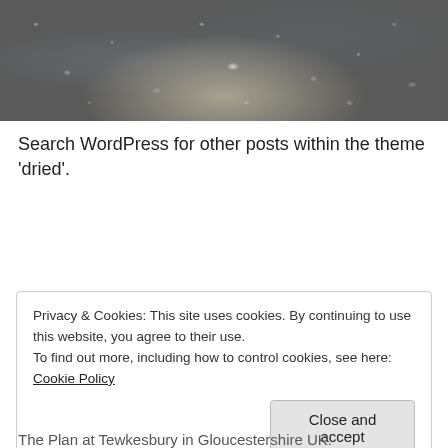[Figure (photo): Close-up photograph of a rocky or gravelly ground surface with scattered pebbles and debris, with a lighter area in the center suggesting a light reflection or dusty patch.]
Search WordPress for other posts within the theme ‘dried’.
October 16, 2016
Privacy & Cookies: This site uses cookies. By continuing to use this website, you agree to their use.
To find out more, including how to control cookies, see here: Cookie Policy
Close and accept
The Plan at Tewkesbury in Gloucestershire UK.